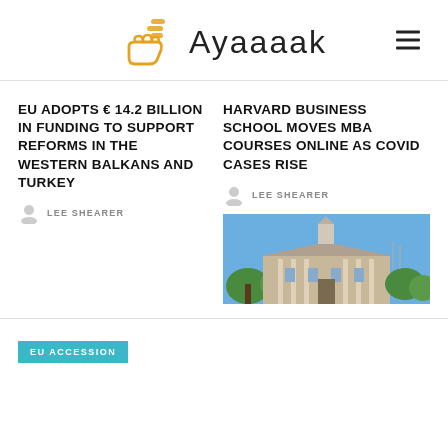Ayaaaak
EU ADOPTS € 14.2 BILLION IN FUNDING TO SUPPORT REFORMS IN THE WESTERN BALKANS AND TURKEY
LEE SHEARER
HARVARD BUSINESS SCHOOL MOVES MBA COURSES ONLINE AS COVID CASES RISE
LEE SHEARER
[Figure (photo): Harvard Business School building with white steeple/cupola, columns, brick facade, green trees, blue sky]
EU ACCESSION